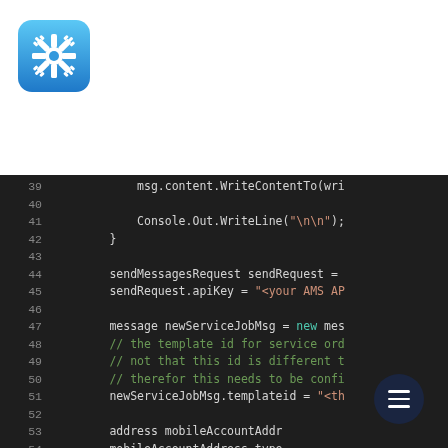[Figure (logo): Blue square app icon with white gear/cog snowflake symbol]
[Figure (screenshot): Dark-themed code editor screenshot showing C# code lines 39-55 with syntax highlighting. Line numbers in grey, keywords in teal, strings in orange, comments in green.]